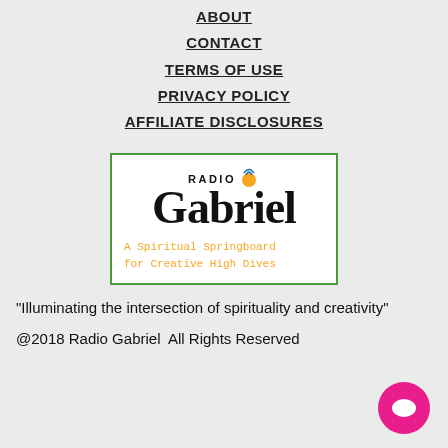ABOUT
CONTACT
TERMS OF USE
PRIVACY POLICY
AFFILIATE DISCLOSURES
[Figure (logo): Radio Gabriel logo with tagline 'A Spiritual Springboard for Creative High Dives' in a green-bordered white box]
"Illuminating the intersection of spirituality and creativity"
@2018 Radio Gabriel  All Rights Reserved